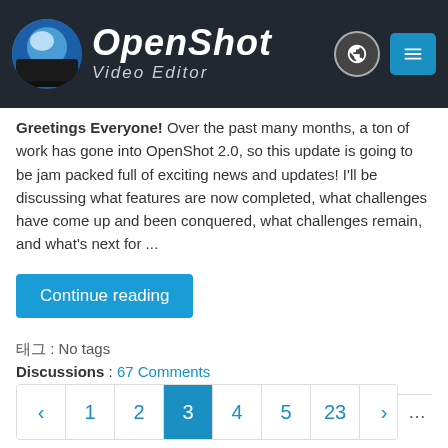[Figure (logo): OpenShot Video Editor logo with globe and menu icons in dark header]
Greetings Everyone! Over the past many months, a ton of work has gone into OpenShot 2.0, so this update is going to be jam packed full of exciting news and updates! I'll be discussing what features are now completed, what challenges have come up and been conquered, what challenges remain, and what's next for ...
Continue reading
태그 : No tags
Discussions : 67 Comments
< 1 2 3 4 5 23 > ...